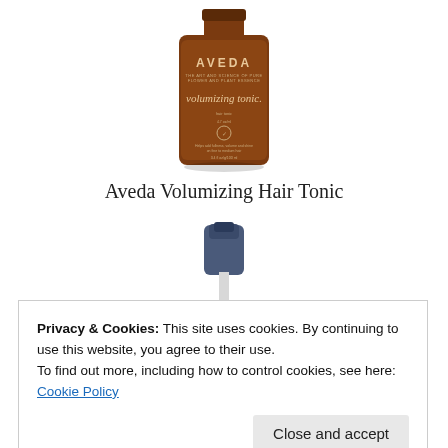[Figure (photo): Aveda volumizing tonic bottle — amber/brown glass bottle with Aveda label showing 'volumizing tonic.' text, 3.4 fl oz/100ml]
Aveda Volumizing Hair Tonic
[Figure (photo): White spray pump bottle with dark blue/navy spray head, partially visible]
Privacy & Cookies: This site uses cookies. By continuing to use this website, you agree to their use.
To find out more, including how to control cookies, see here: Cookie Policy
Close and accept